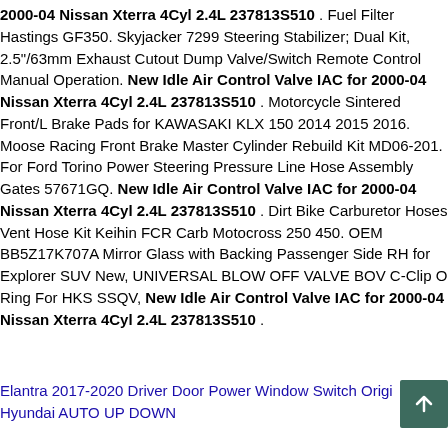2000-04 Nissan Xterra 4Cyl 2.4L 237813S510 . Fuel Filter Hastings GF350. Skyjacker 7299 Steering Stabilizer; Dual Kit, 2.5"/63mm Exhaust Cutout Dump Valve/Switch Remote Control Manual Operation. New Idle Air Control Valve IAC for 2000-04 Nissan Xterra 4Cyl 2.4L 237813S510 . Motorcycle Sintered Front/L Brake Pads for KAWASAKI KLX 150 2014 2015 2016. Moose Racing Front Brake Master Cylinder Rebuild Kit MD06-201. For Ford Torino Power Steering Pressure Line Hose Assembly Gates 57671GQ. New Idle Air Control Valve IAC for 2000-04 Nissan Xterra 4Cyl 2.4L 237813S510 . Dirt Bike Carburetor Hoses Vent Hose Kit Keihin FCR Carb Motocross 250 450. OEM BB5Z17K707A Mirror Glass with Backing Passenger Side RH for Explorer SUV New, UNIVERSAL BLOW OFF VALVE BOV C-Clip O Ring For HKS SSQV, New Idle Air Control Valve IAC for 2000-04 Nissan Xterra 4Cyl 2.4L 237813S510 .
Elantra 2017-2020 Driver Door Power Window Switch Original Hyundai AUTO UP DOWN